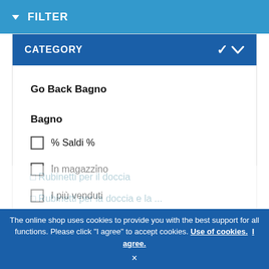FILTER
CATEGORY
Go Back Bagno
Bagno
% Saldi %
In magazzino
I più venduti
Accessori per il bagno
The online shop uses cookies to provide you with the best support for all functions. Please click "I agree" to accept cookies. Use of cookies. I agree.